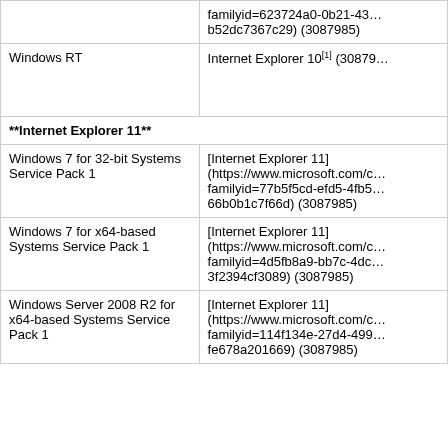| Affected Software | Update |
| --- | --- |
|  | familyid=623724a0-0b21-43… b52dc7367c29) (3087985) |
| Windows RT | Internet Explorer 10[1] (30879… |
| **Internet Explorer 11** |  |
| Windows 7 for 32-bit Systems Service Pack 1 | [Internet Explorer 11] (https://www.microsoft.com/c… familyid=77b5f5cd-efd5-4fb5… 66b0b1c7f66d) (3087985) |
| Windows 7 for x64-based Systems Service Pack 1 | [Internet Explorer 11] (https://www.microsoft.com/c… familyid=4d5fb8a9-bb7c-4dc… 3f2394cf3089) (3087985) |
| Windows Server 2008 R2 for x64-based Systems Service Pack 1 | [Internet Explorer 11] (https://www.microsoft.com/c… familyid=114f134e-27d4-499… fe678a201669) (3087985) |